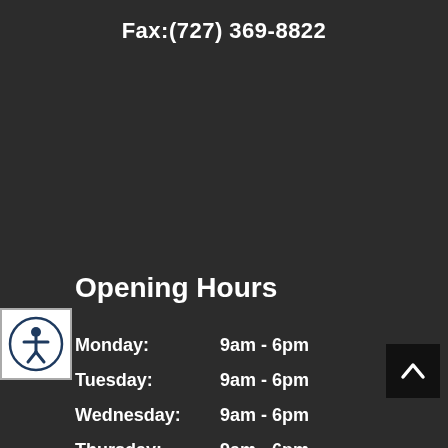Fax:(727) 369-8822
Opening Hours
| Day | Hours |
| --- | --- |
| Monday: | 9am - 6pm |
| Tuesday: | 9am - 6pm |
| Wednesday: | 9am - 6pm |
| Thursday: | 9am - 6pm |
[Figure (illustration): Accessibility icon — circular badge with a stick figure person inside]
[Figure (illustration): Back to top button — dark square with upward-pointing chevron arrow]